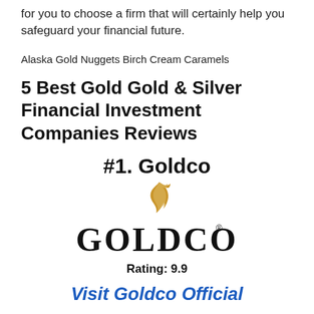for you to choose a firm that will certainly help you safeguard your financial future.
Alaska Gold Nuggets Birch Cream Caramels
5 Best Gold Gold & Silver Financial Investment Companies Reviews
#1. Goldco
[Figure (logo): Goldco logo with golden flame accent above the word GOLDCO in large serif text with a registered trademark symbol]
Rating: 9.9
Visit Goldco Official